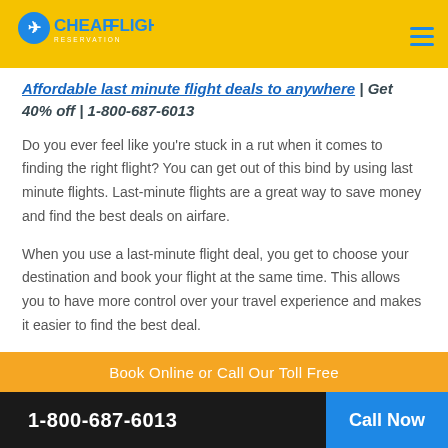CheapFlights Reservation
Affordable last minute flight deals to anywhere | Get 40% off | 1-800-687-6013
Do you ever feel like you’re stuck in a rut when it comes to finding the right flight? You can get out of this bind by using last minute flights. Last-minute flights are a great way to save money and find the best deals on airfare.
When you use a last-minute flight deal, you get to choose your destination and book your flight at the same time. This allows you to have more control over your travel experience and makes it easier to find the best deal.
What is a last-minute flight?
Book Online or Call Our Toll Free
1-800-687-6013  Call Now